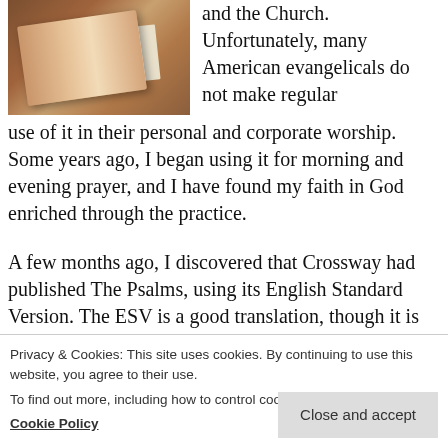[Figure (photo): A brown leather Bible or book with pages visible, on a dark surface]
and the Church. Unfortunately, many American evangelicals do not make regular use of it in their personal and corporate worship. Some years ago, I began using it for morning and evening prayer, and I have found my faith in God enriched through the practice.
A few months ago, I discovered that Crossway had published The Psalms, using its English Standard Version. The ESV is a good translation, though it is not the translation I use most regularly.
Privacy & Cookies: This site uses cookies. By continuing to use this website, you agree to their use.
To find out more, including how to control cookies, see here:
Cookie Policy